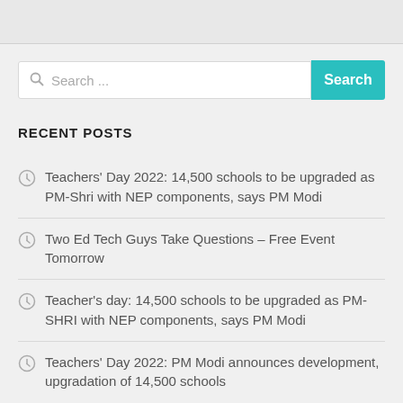[Figure (other): Search bar with teal Search button]
RECENT POSTS
Teachers' Day 2022: 14,500 schools to be upgraded as PM-Shri with NEP components, says PM Modi
Two Ed Tech Guys Take Questions – Free Event Tomorrow
Teacher's day: 14,500 schools to be upgraded as PM-SHRI with NEP components, says PM Modi
Teachers' Day 2022: PM Modi announces development, upgradation of 14,500 schools